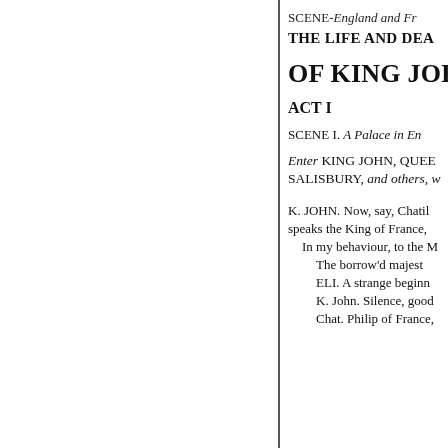SCENE-England and Fr...
THE LIFE AND DEA...
OF KING JOHN
ACT I
SCENE I. A Palace in En...
Enter KING JOHN, QUEE...
SALISBURY, and others, w...
K. JOHN. Now, say, Chatil...
speaks the King of France,...
  In my behaviour, to the M...
    The borrow'd majest...
    ELI. A strange beginn...
    K. John. Silence, good...
    Chat. Philip of France...